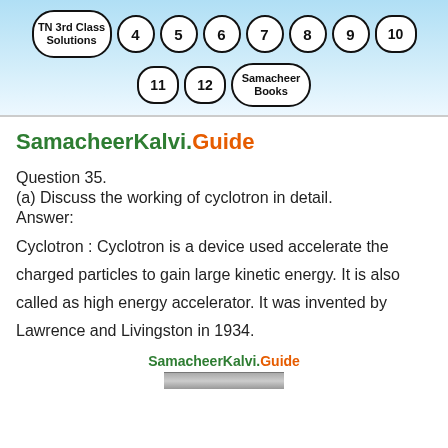TN 3rd Class Solutions  4  5  6  7  8  9  10  11  12  Samacheer Books
SamacheerKalvi.Guide
Question 35.
(a) Discuss the working of cyclotron in detail.
Answer:
Cyclotron : Cyclotron is a device used accelerate the charged particles to gain large kinetic energy. It is also called as high energy accelerator. It was invented by Lawrence and Livingston in 1934.
SamacheerKalvi.Guide
[Figure (photo): Partial image visible at bottom of page, appears to be a photograph related to cyclotron]